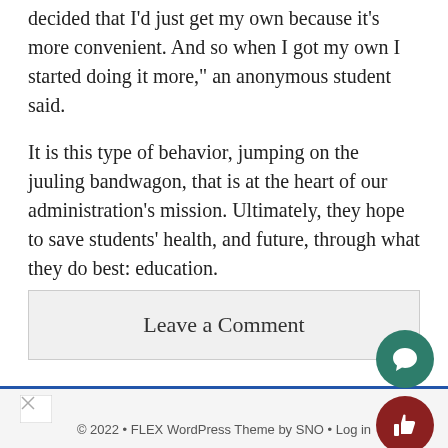decided that I’d just get my own because it’s more convenient. And so when I got my own I started doing it more,” an anonymous student said.
It is this type of behavior, jumping on the juuling bandwagon, that is at the heart of our administration’s mission. Ultimately, they hope to save students’ health, and future, through what they do best: education.
Leave a Comment
[Figure (other): Broken image icon in footer area]
© 2022 • FLEX WordPress Theme by SNO • Log in